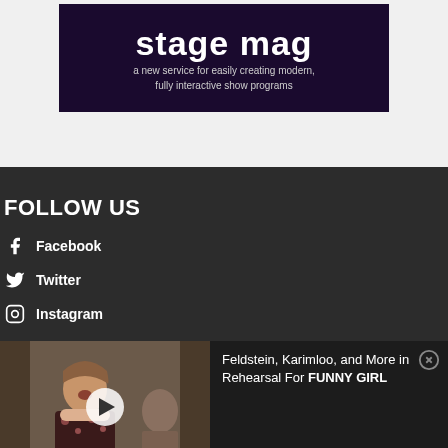[Figure (illustration): StageMag advertisement banner with dark purple/maroon background showing 'stage mag' title text and tagline 'a new service for easily creating modern, fully interactive show programs']
FOLLOW US
Facebook
Twitter
Instagram
[Figure (photo): Video thumbnail showing a person in a floral dress singing or speaking, with a play button overlay, and text 'Feldstein, Karimloo, and More in Rehearsal For FUNNY GIRL' beside it with a close button]